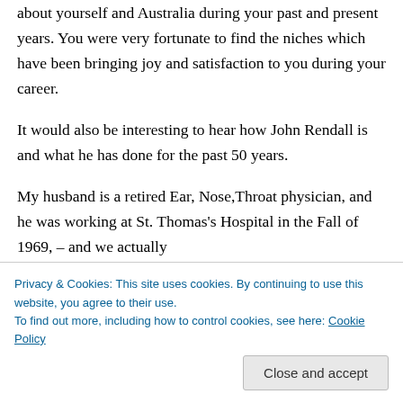about yourself and Australia during your past and present years. You were very fortunate to find the niches which have been bringing joy and satisfaction to you during your career.
It would also be interesting to hear how John Rendall is and what he has done for the past 50 years.
My husband is a retired Ear, Nose,Throat physician, and he was working at St. Thomas's Hospital in the Fall of 1969, – and we actually
Privacy & Cookies: This site uses cookies. By continuing to use this website, you agree to their use.
To find out more, including how to control cookies, see here: Cookie Policy
Close and accept
The Coronavirus has impacted lives in every